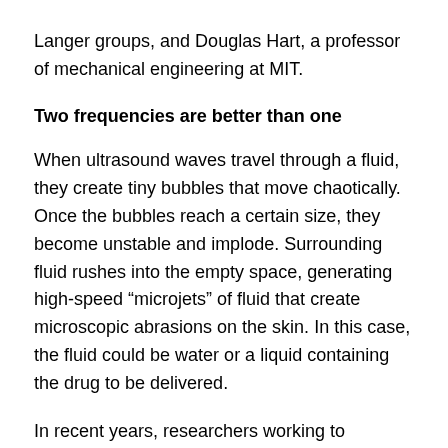Langer groups, and Douglas Hart, a professor of mechanical engineering at MIT.
Two frequencies are better than one
When ultrasound waves travel through a fluid, they create tiny bubbles that move chaotically. Once the bubbles reach a certain size, they become unstable and implode. Surrounding fluid rushes into the empty space, generating high-speed “microjets” of fluid that create microscopic abrasions on the skin. In this case, the fluid could be water or a liquid containing the drug to be delivered.
In recent years, researchers working to enhance transdermal drug delivery have focused on low-